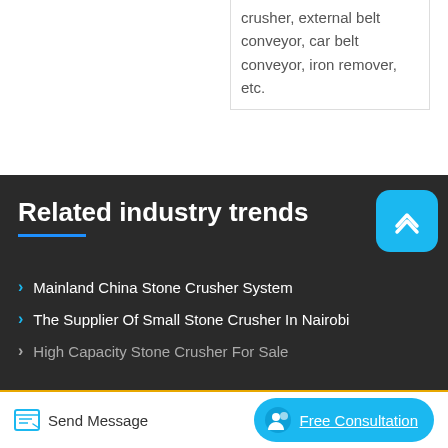crusher, external belt conveyor, car belt conveyor, iron remover, etc.
Related industry trends
Mainland China Stone Crusher System
The Supplier Of Small Stone Crusher In Nairobi
High Capacity Stone Crusher For Sale
Send Message
Free Consultation